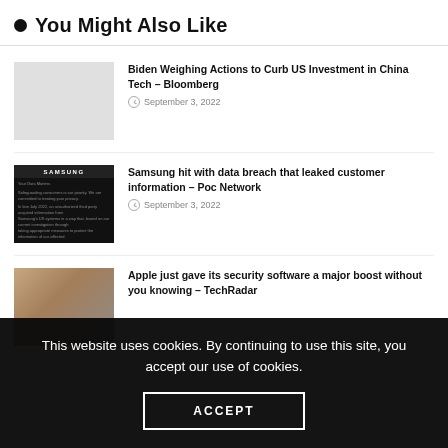You Might Also Like
Biden Weighing Actions to Curb US Investment in China Tech – Bloomberg
September 3, 2022
Samsung hit with data breach that leaked customer information – Poc Network
September 3, 2022
Apple just gave its security software a major boost without you knowing – TechRadar
This website uses cookies. By continuing to use this site, you accept our use of cookies.